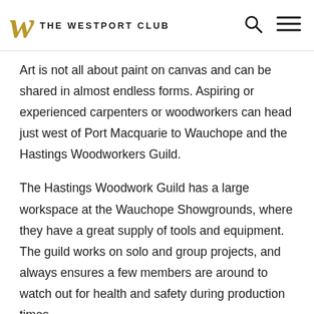W THE WESTPORT CLUB
Art is not all about paint on canvas and can be shared in almost endless forms. Aspiring or experienced carpenters or woodworkers can head just west of Port Macquarie to Wauchope and the Hastings Woodworkers Guild.
The Hastings Woodwork Guild has a large workspace at the Wauchope Showgrounds, where they have a great supply of tools and equipment. The guild works on solo and group projects, and always ensures a few members are around to watch out for health and safety during production times.
As well as their monthly meetings, the guild holds an